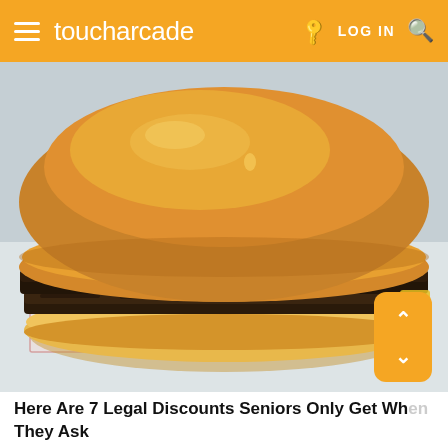toucharcade  LOG IN
[Figure (photo): Close-up photo of a fast food double cheeseburger with melted cheese and pickles, resting on white wax paper wrapper]
Here Are 7 Legal Discounts Seniors Only Get When They Ask